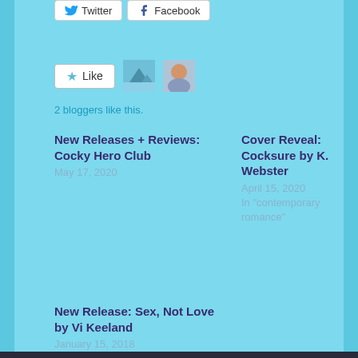[Figure (screenshot): Twitter and Facebook share buttons at top of page]
[Figure (screenshot): Like button with star icon and two blogger avatar photos]
2 bloggers like this.
New Releases + Reviews: Cocky Hero Club
May 17, 2020
Cover Reveal: Cocksure by K. Webster
April 15, 2020
In "contemporary romance"
New Release: Sex, Not Love by Vi Keeland
January 15, 2018
In "contemporary romance"